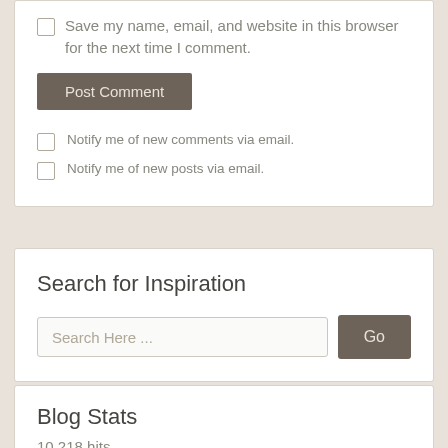Save my name, email, and website in this browser for the next time I comment.
Post Comment
Notify me of new comments via email.
Notify me of new posts via email.
Search for Inspiration
Search Here ...
Go
Blog Stats
10,218 hits